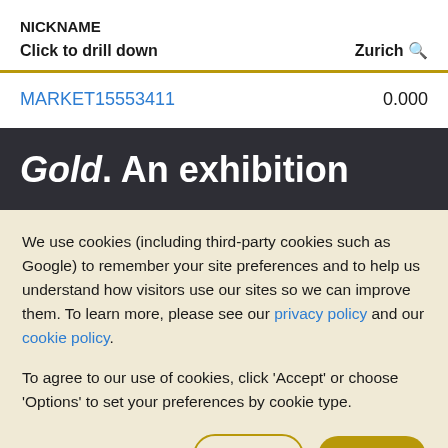NICKNAME
Click to drill down Zurich 🔍
MARKET15553411  0.000
Gold. An exhibition
We use cookies (including third-party cookies such as Google) to remember your site preferences and to help us understand how visitors use our sites so we can improve them. To learn more, please see our privacy policy and our cookie policy.
To agree to our use of cookies, click 'Accept' or choose 'Options' to set your preferences by cookie type.